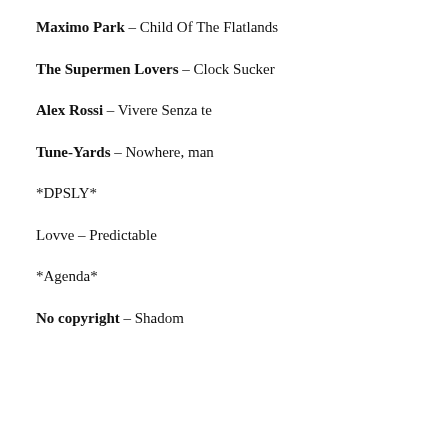Maximo Park – Child Of The Flatlands
The Supermen Lovers – Clock Sucker
Alex Rossi – Vivere Senza te
Tune-Yards – Nowhere, man
*DPSLY*
Lovve – Predictable
*Agenda*
No copyright – Shadom